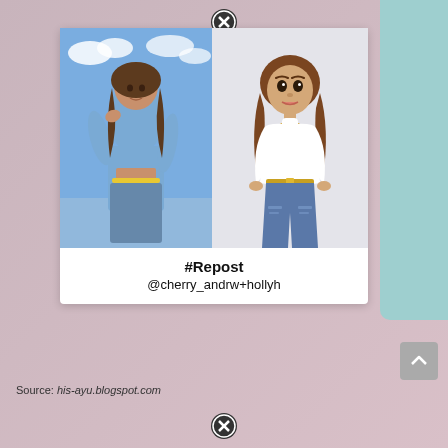[Figure (screenshot): Social media post card showing a real photo of a young woman in blue outfit on the left and a Bitmoji/avatar illustration of the same person on the right, with caption '#Repost @cherry_andrw+hollyh']
#Repost
@cherry_andrw+hollyh
Source: his-ayu.blogspot.com